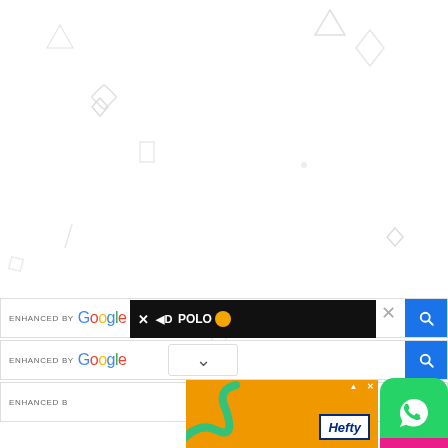[Figure (screenshot): White background with faint light-gray geometric shapes (triangles, diamonds, squares, circles, rectangles) scattered across the upper portion of the page.]
[Figure (screenshot): Three Google search bars stacked, each with 'ENHANCED BY Google' label and a blue search button. An AdPolo ad overlay bar is shown in black across the second search bar. A dropdown chevron arrow is visible. A Hefty branded orange ad banner appears at the bottom with a WhatsApp icon in the lower right corner.]